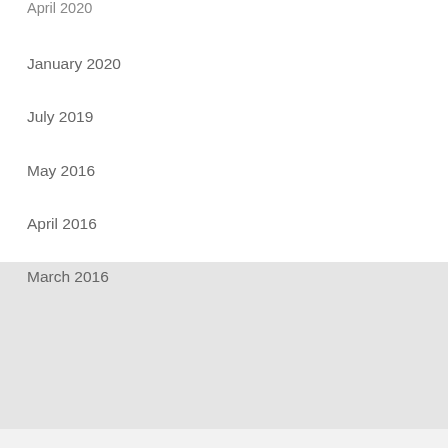April 2020
January 2020
July 2019
May 2016
April 2016
March 2016